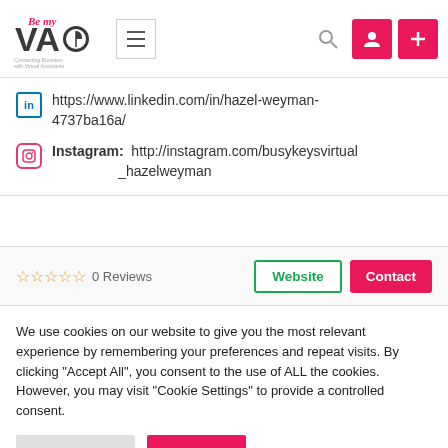[Figure (logo): Be My VA logo - Connecting Business with Virtual Assistants]
https://www.linkedin.com/in/hazel-weyman-4737ba16a/
Instagram: http://instagram.com/busykeysvirtual_hazelweyman
☆☆☆☆☆ 0 Reviews
Website
Contact
We use cookies on our website to give you the most relevant experience by remembering your preferences and repeat visits. By clicking "Accept All", you consent to the use of ALL the cookies. However, you may visit "Cookie Settings" to provide a controlled consent.
Cookie Settings
Accept All